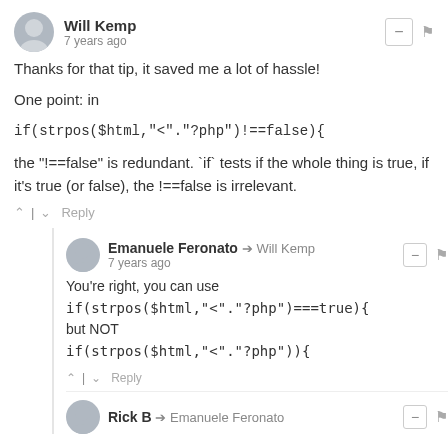Will Kemp
7 years ago
Thanks for that tip, it saved me a lot of hassle!
One point: in
if(strpos($html,"<"."?php")!==false){
the "!==false" is redundant. `if` tests if the whole thing is true, if it&#039s true (or false), the !==false is irrelevant.
^ | v  Reply
Emanuele Feronato → Will Kemp
7 years ago
You're right, you can use
if(strpos($html,"<"."?php")===true){
but NOT
if(strpos($html,"<"."?php")){
^ | v  Reply
Rick B → Emanuele Feronato